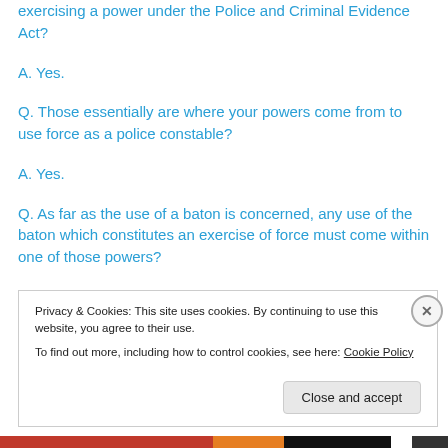exercising a power under the Police and Criminal Evidence Act?
A. Yes.
Q. Those essentially are where your powers come from to use force as a police constable?
A. Yes.
Q. As far as the use of a baton is concerned, any use of the baton which constitutes an exercise of force must come within one of those powers?
Privacy & Cookies: This site uses cookies. By continuing to use this website, you agree to their use. To find out more, including how to control cookies, see here: Cookie Policy